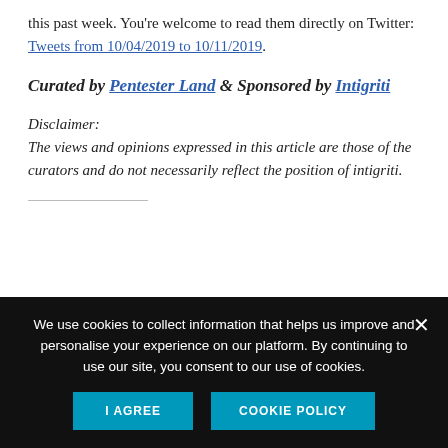this past week. You're welcome to read them directly on Twitter: Tweets from 10/04/2019 to 10/11/2019.
Curated by Pentester Land & Sponsored by Intigriti
Disclaimer:
The views and opinions expressed in this article are those of the curators and do not necessarily reflect the position of intigriti.
We use cookies to collect information that helps us improve and personalise your experience on our platform. By continuing to use our site, you consent to our use of cookies.
I AGREE
COOKIE POLICY